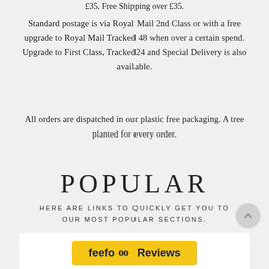£35. Free Shipping over £35.
Standard postage is via Royal Mail 2nd Class or with a free upgrade to Royal Mail Tracked 48 when over a certain spend. Upgrade to First Class, Tracked24 and Special Delivery is also available.
All orders are dispatched in our plastic free packaging. A tree planted for every order.
POPULAR
HERE ARE LINKS TO QUICKLY GET YOU TO OUR MOST POPULAR SECTIONS.
[Figure (logo): Feefo Reviews button - yellow rounded rectangle with 'feefo' text and two circular dots followed by 'Reviews' text]